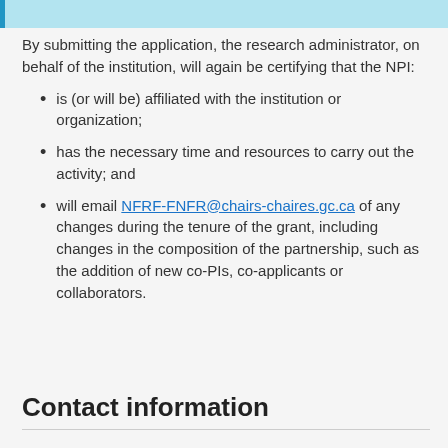By submitting the application, the research administrator, on behalf of the institution, will again be certifying that the NPI:
is (or will be) affiliated with the institution or organization;
has the necessary time and resources to carry out the activity; and
will email NFRF-FNFR@chairs-chaires.gc.ca of any changes during the tenure of the grant, including changes in the composition of the partnership, such as the addition of new co-PIs, co-applicants or collaborators.
Contact information